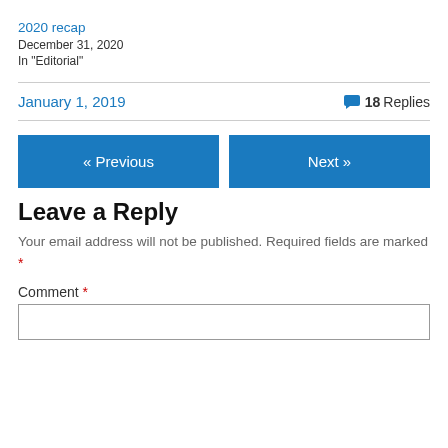2020 recap
December 31, 2020
In "Editorial"
January 1, 2019    18 Replies
« Previous
Next »
Leave a Reply
Your email address will not be published. Required fields are marked *
Comment *